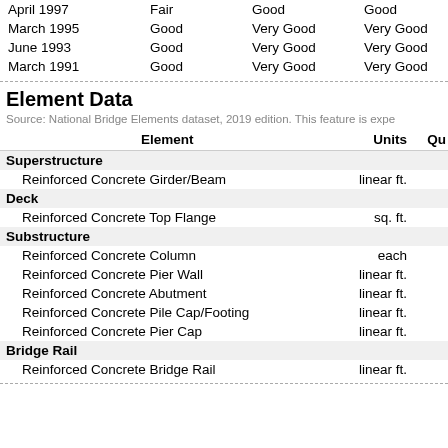|  |  |  |
| --- | --- | --- |
| April 1997 | Fair | Good | Good |
| March 1995 | Good | Very Good | Very Good |
| June 1993 | Good | Very Good | Very Good |
| March 1991 | Good | Very Good | Very Good |
Element Data
Source: National Bridge Elements dataset, 2019 edition. This feature is expe
| Element | Units | Qu |
| --- | --- | --- |
| Superstructure |  |  |
| Reinforced Concrete Girder/Beam | linear ft. |  |
| Deck |  |  |
| Reinforced Concrete Top Flange | sq. ft. |  |
| Substructure |  |  |
| Reinforced Concrete Column | each |  |
| Reinforced Concrete Pier Wall | linear ft. |  |
| Reinforced Concrete Abutment | linear ft. |  |
| Reinforced Concrete Pile Cap/Footing | linear ft. |  |
| Reinforced Concrete Pier Cap | linear ft. |  |
| Bridge Rail |  |  |
| Reinforced Concrete Bridge Rail | linear ft. |  |